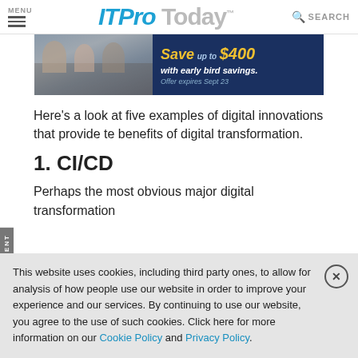MENU | ITProToday SEARCH
[Figure (photo): Advertisement banner showing people at a meeting table with text 'Save up to $400 with early bird savings. Offer expires Sept 23' on dark blue background]
Here’s a look at five examples of digital innovations that provide te benefits of digital transformation.
1. CI/CD
Perhaps the most obvious major digital transformation
This website uses cookies, including third party ones, to allow for analysis of how people use our website in order to improve your experience and our services. By continuing to use our website, you agree to the use of such cookies. Click here for more information on our Cookie Policy and Privacy Policy.